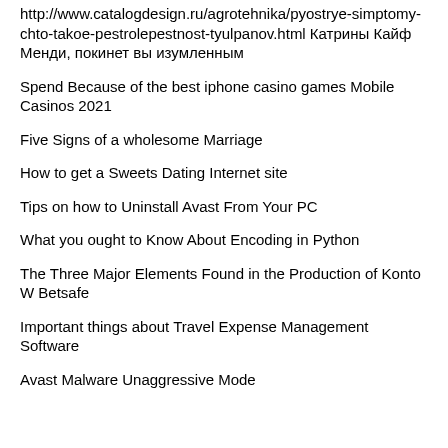http://www.catalogdesign.ru/agrotehnika/pyostrye-simptomy-chto-takoe-pestrolepestnost-tyulpanov.html Катрины Кайф Менди, покинет вы изумленным
Spend Because of the best iphone casino games Mobile Casinos 2021
Five Signs of a wholesome Marriage
How to get a Sweets Dating Internet site
Tips on how to Uninstall Avast From Your PC
What you ought to Know About Encoding in Python
The Three Major Elements Found in the Production of Konto W Betsafe
Important things about Travel Expense Management Software
Avast Malware Unaggressive Mode